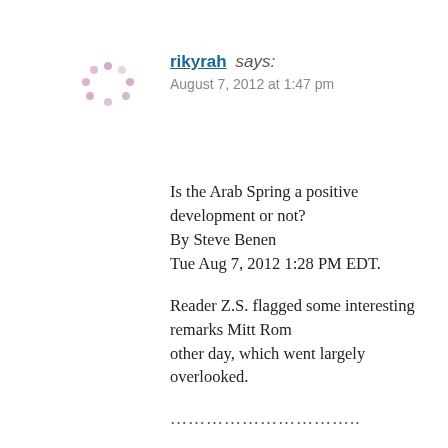[Figure (illustration): Gravatar avatar placeholder with pink/purple dot pattern on white background]
rikyrah says:
August 7, 2012 at 1:47 pm
Is the Arab Spring a positive development or not?
By Steve Benen
Tue Aug 7, 2012 1:28 PM EDT.
Reader Z.S. flagged some interesting remarks Mitt Rom other day, which went largely overlooked.
………………………..
Consider this item from two weeks ago:
In his latest broadside against the incumbent's foreign p President Obama for the Arab uprisings last year, argu off by pressing the region's autocrats to reform first.